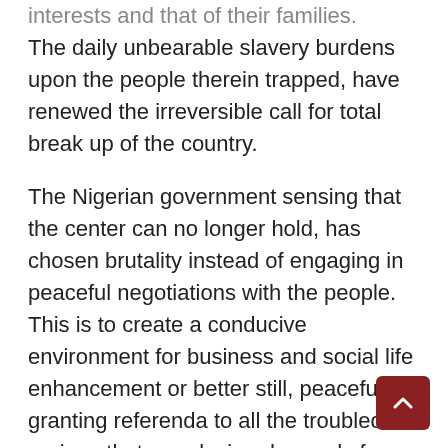interests and that of their families.
The daily unbearable slavery burdens upon the people therein trapped, have renewed the irreversible call for total break up of the country.
The Nigerian government sensing that the center can no longer hold, has chosen brutality instead of engaging in peaceful negotiations with the people. This is to create a conducive environment for business and social life enhancement or better still, peacefully granting referenda to all the troubled regions that are placing demands for such.
The brutal tacts of the Nigerian government has yielded all forms of agitations alongside that of Biafra.